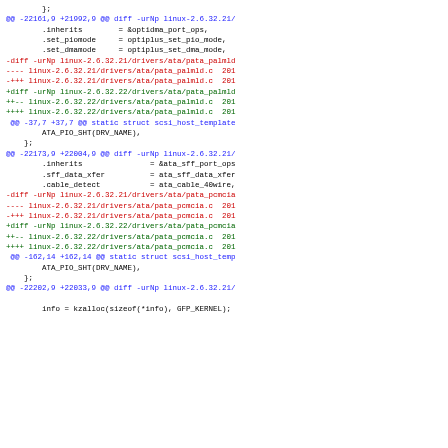diff --git code block showing unified diff of Linux kernel drivers/ata files pata_palmld.c and pata_pcmcia.c between versions 2.6.32.21 and 2.6.32.22